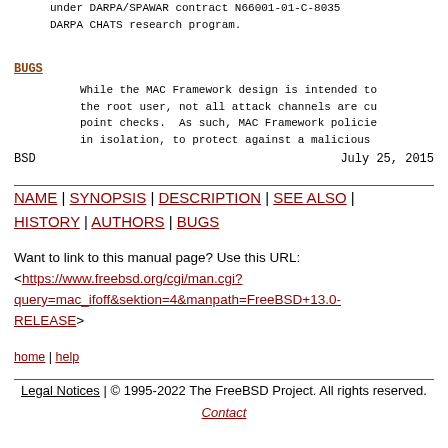under DARPA/SPAWAR contract N66001-01-C-8035 DARPA CHATS research program.
BUGS
While the MAC Framework design is intended to the root user, not all attack channels are cu point checks. As such, MAC Framework policie in isolation, to protect against a malicious
BSD	July 25, 2015
NAME | SYNOPSIS | DESCRIPTION | SEE ALSO | HISTORY | AUTHORS | BUGS
Want to link to this manual page? Use this URL:
<https://www.freebsd.org/cgi/man.cgi?query=mac_ifoff&sektion=4&manpath=FreeBSD+13.0-RELEASE>
home | help
Legal Notices | © 1995-2022 The FreeBSD Project. All rights reserved.
Contact